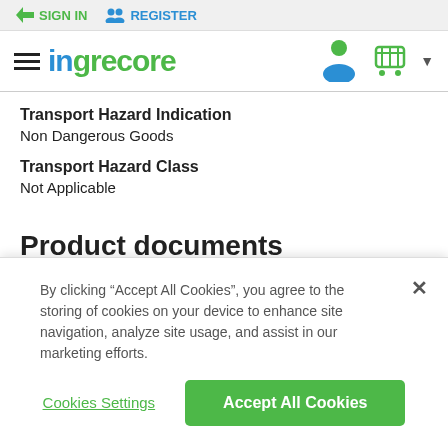SIGN IN  REGISTER
[Figure (logo): Ingrecore logo with hamburger menu, user icon and cart icon]
Transport Hazard Indication
Non Dangerous Goods
Transport Hazard Class
Not Applicable
Product documents
Please Register or Sign In to view safety data and spec sheets
By clicking “Accept All Cookies”, you agree to the storing of cookies on your device to enhance site navigation, analyze site usage, and assist in our marketing efforts.
Cookies Settings  Accept All Cookies